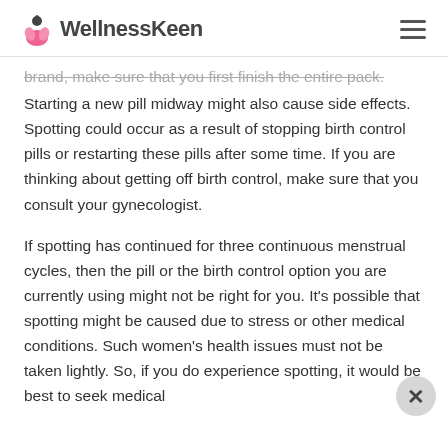WellnessKeen
brand, make sure that you first finish the entire pack. Starting a new pill midway might also cause side effects. Spotting could occur as a result of stopping birth control pills or restarting these pills after some time. If you are thinking about getting off birth control, make sure that you consult your gynecologist.
If spotting has continued for three continuous menstrual cycles, then the pill or the birth control option you are currently using might not be right for you. It's possible that spotting might be caused due to stress or other medical conditions. Such women's health issues must not be taken lightly. So, if you do experience spotting, it would be best to seek medical